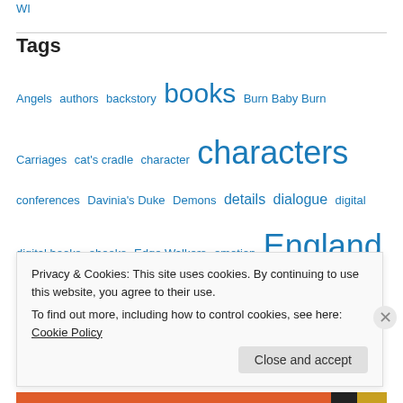WI
Tags
Angels authors backstory books Burn Baby Burn Carriages cat's cradle character characters conferences Davinia's Duke Demons details dialogue digital digital books ebooks Edge Walkers emotion England events excerpts exchange fiction food Historical Romance horses ideas Lady Chance learning narrative novellas paranormal past tense Paths of Desire Plot plotting plotting from character point of view pov proper conduct regency Regency England Regency Romance research
Privacy & Cookies: This site uses cookies. By continuing to use this website, you agree to their use.
To find out more, including how to control cookies, see here: Cookie Policy